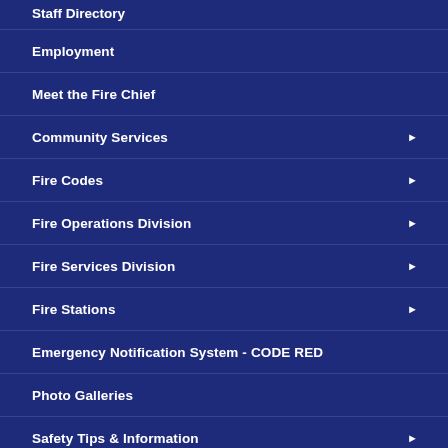Staff Directory
Employment
Meet the Fire Chief
Community Services
Fire Codes
Fire Operations Division
Fire Services Division
Fire Stations
Emergency Notification System - CODE RED
Photo Galleries
Safety Tips & Information